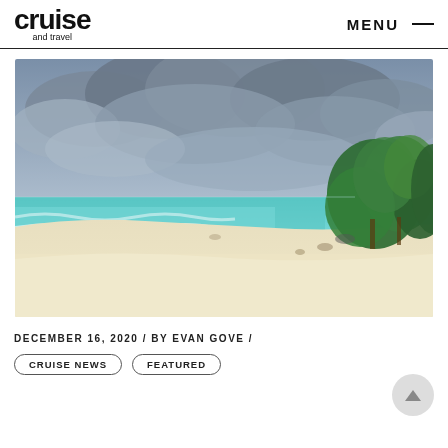cruise and Travel | MENU
[Figure (photo): A tropical beach with white sand, turquoise water, green trees/vegetation on the right, and a dramatic cloudy grey-blue sky.]
DECEMBER 16, 2020 / BY EVAN GOVE /
CRUISE NEWS   FEATURED